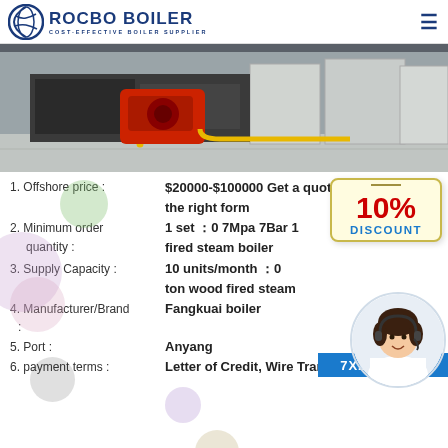ROCBO BOILER - COST-EFFECTIVE BOILER SUPPLIER
[Figure (photo): Industrial boiler equipment in a facility, with red burner/motor unit and yellow pipe connections visible in foreground against grey background]
1. Offshore price : $20000-$100000 Get a quote on the right form
2. Minimum order quantity : 1 set：0 7Mpa 7Bar 1 fired steam boiler
3. Supply Capacity : 10 units/month：0 ton wood fired steam
4. Manufacturer/Brand: Fangkuai boiler
5. Port : Anyang
[Figure (infographic): 10% DISCOUNT badge/sign in red and blue on cream background]
[Figure (photo): Female customer service agent wearing headset, smiling, in circular frame]
6. payment terms : Letter of Credit, Wire Transfer,
7X24 Online